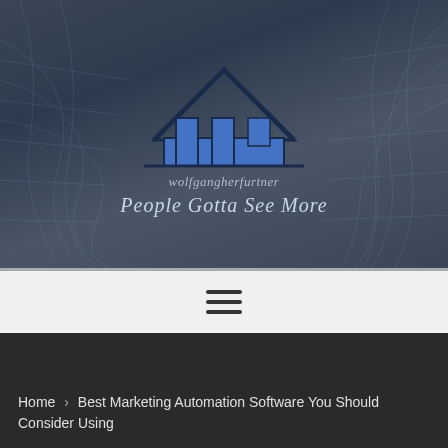[Figure (logo): wolfgangherfurtner website logo: house wireframe icon above domain name 'wolfgangherfurtner' and tagline 'People Gotta See More', set against dark blue-grey gradient background with wireframe mesh design]
[Figure (other): Hamburger menu icon (three horizontal lines) on light grey navigation bar]
Home › Best Marketing Automation Software You Should Consider Using